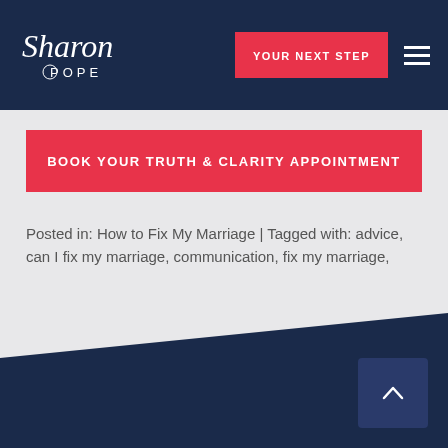[Figure (logo): Sharon Pope logo in white script text on dark navy background with 'POPE' in block letters below]
YOUR NEXT STEP
BOOK YOUR TRUTH & CLARITY APPOINTMENT
Posted in: How to Fix My Marriage | Tagged with: advice, can I fix my marriage, communication, fix my marriage, forgiveness, marriage advice, relationship advice, stuck, truth